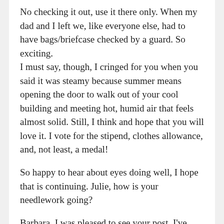No checking it out, use it there only. When my dad and I left we, like everyone else, had to have bags/briefcase checked by a guard. So exciting.
I must say, though, I cringed for you when you said it was steamy because summer means opening the door to walk out of your cool building and meeting hot, humid air that feels almost solid. Still, I think and hope that you will love it. I vote for the stipend, clothes allowance, and, not least, a medal!
So happy to hear about eyes doing well, I hope that is continuing. Julie, how is your needlework going?
Barbara, I was pleased to see your post. I've been sending you good wishes and hugs. Hope you are getting some morning walks in, a great time to watch and talk with the birds. I saw a bluebird the other